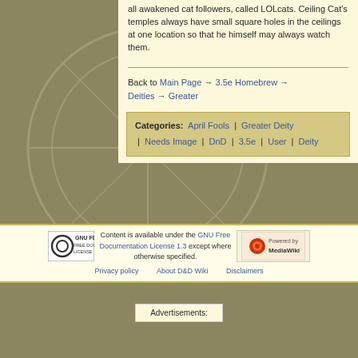all awakened cat followers, called LOLcats. Ceiling Cat's temples always have small square holes in the ceilings at one location so that he himself may always watch them.
Back to Main Page → 3.5e Homebrew → Deities → Greater
Categories:  April Fools  |  Greater Deity  |  Needs Image  |  DnD  |  3.5e  |  User  |  Deity
Content is available under the GNU Free Documentation License 1.3 except where otherwise specified. Privacy policy  About D&D Wiki  Disclaimers
Advertisements: